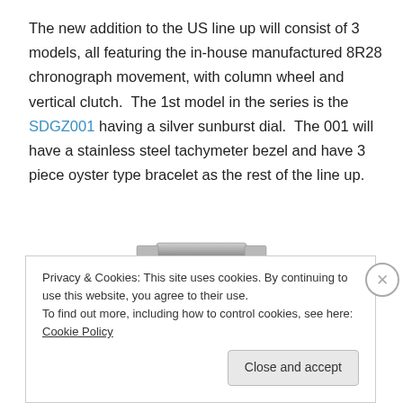The new addition to the US line up will consist of 3 models, all featuring the in-house manufactured 8R28 chronograph movement, with column wheel and vertical clutch.  The 1st model in the series is the SDGZ001 having a silver sunburst dial.  The 001 will have a stainless steel tachymeter bezel and have 3 piece oyster type bracelet as the rest of the line up.
[Figure (photo): Partial view of a stainless steel chronograph watch with oyster-type bracelet, silver dial visible at bottom]
Privacy & Cookies: This site uses cookies. By continuing to use this website, you agree to their use.
To find out more, including how to control cookies, see here: Cookie Policy